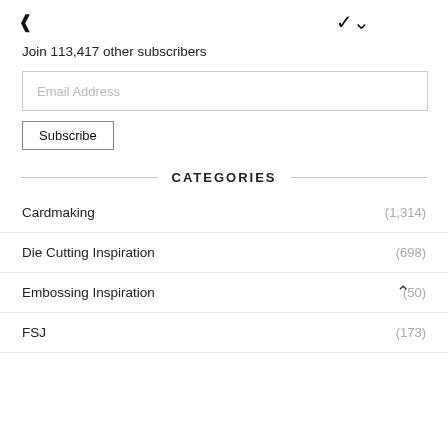Join 113,417 other subscribers
Email Address
Subscribe
CATEGORIES
Cardmaking (1,314)
Die Cutting Inspiration (698)
Embossing Inspiration (50)
FSJ (173)